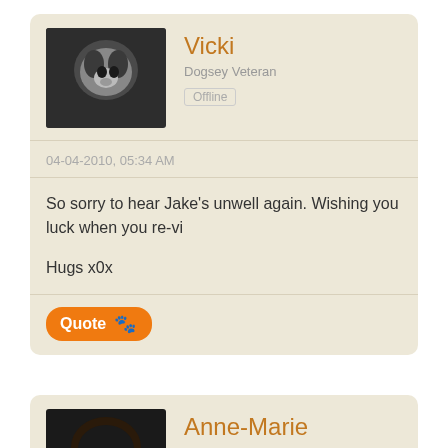Vicki
Dogsey Veteran
Offline
04-04-2010, 05:34 AM
So sorry to hear Jake's unwell again. Wishing you luck when you re-vi
Hugs x0x
Quote
Anne-Marie
Dogsey Veteran
Offline